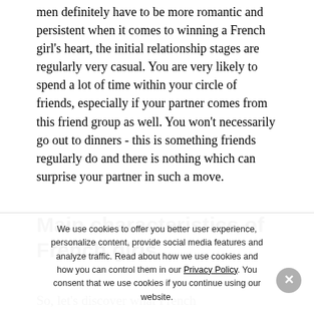men definitely have to be more romantic and persistent when it comes to winning a French girl's heart, the initial relationship stages are regularly very casual. You are very likely to spend a lot of time within your circle of friends, especially if your partner comes from this friend group as well. You won't necessarily go out to dinners - this is something friends regularly do and there is nothing which can surprise your partner in such a move.
Main characteristics of French girls
So, let's discover what French mademoiselles are actually like:
We use cookies to offer you better user experience, personalize content, provide social media features and analyze traffic. Read about how we use cookies and how you can control them in our Privacy Policy. You consent that we use cookies if you continue using our website.